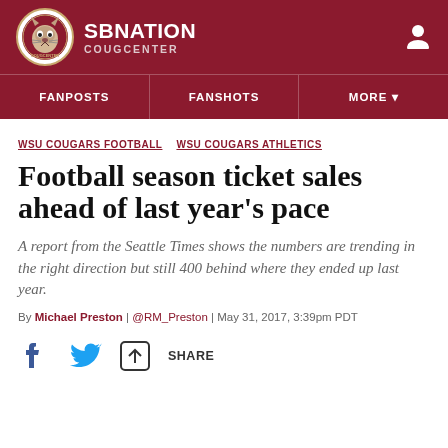SB NATION COUGCENTER
FANPOSTS | FANSHOTS | MORE
WSU COUGARS FOOTBALL  WSU COUGARS ATHLETICS
Football season ticket sales ahead of last year's pace
A report from the Seattle Times shows the numbers are trending in the right direction but still 400 behind where they ended up last year.
By Michael Preston | @RM_Preston | May 31, 2017, 3:39pm PDT
SHARE